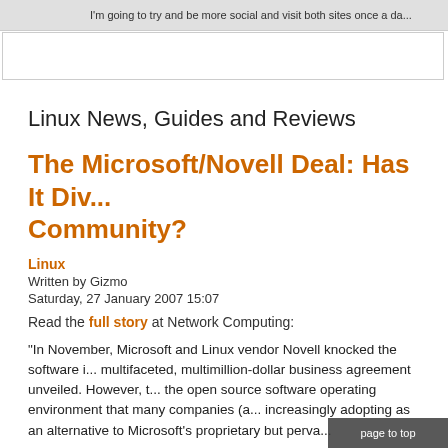I'm going to try and be more social and visit both sites once a da...
Linux News, Guides and Reviews
The Microsoft/Novell Deal: Has It Div... Community?
Linux
Written by Gizmo
Saturday, 27 January 2007 15:07
Read the full story at Network Computing:
"In November, Microsoft and Linux vendor Novell knocked the software i... multifaceted, multimillion-dollar business agreement unveiled. However, t... the open source software operating environment that many companies (a... increasingly adopting as an alternative to Microsoft's proprietary but perva...
Initially announced on news conference Nov. 2, the deal called for Microso... Linux advocates, to start working hand-in-hand with Novell, top of th... areas that included licensing, support, and joint research and devel...